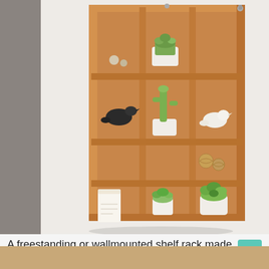[Figure (photo): A wooden wall-mounted shadow box shelf unit with multiple compartments arranged in a 3-column grid, displayed on a light grey wall. The shelves contain decorative items including succulents in white pots, a black bird figurine, a white bird figurine, a white candle, and small wicker balls.]
A freestanding or wallmounted shelf rack made of sturdy